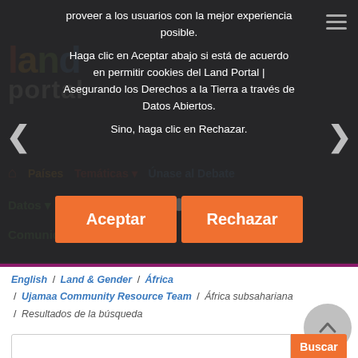[Figure (screenshot): Land Portal website background showing logo, navigation links (Países, Temáticas, Únase al Debate, Datos, Biblioteca, Noticias & Eventos, Comunidad), carousel arrows and dots, and hamburger menu icon, all overlaid by a dark semi-transparent cookie consent modal.]
proveer a los usuarios con la mejor experiencia posible.
Haga clic en Aceptar abajo si está de acuerdo en permitir cookies del Land Portal | Asegurando los Derechos a la Tierra a través de Datos Abiertos.
Sino, haga clic en Rechazar.
Aceptar
Rechazar
English / Land & Gender / África / Ujamaa Community Resource Team / África subsahariana / Resultados de la búsqueda
Buscar